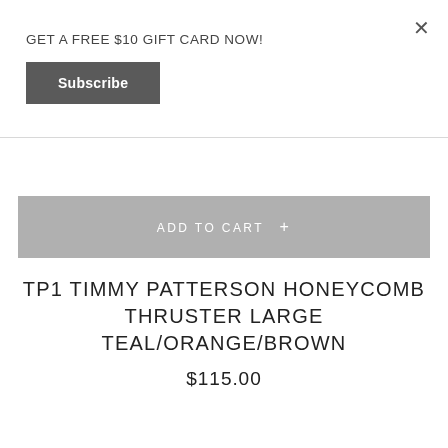×
GET A FREE $10 GIFT CARD NOW!
Subscribe
ADD TO CART +
TP1 TIMMY PATTERSON HONEYCOMB THRUSTER LARGE TEAL/ORANGE/BROWN
$115.00